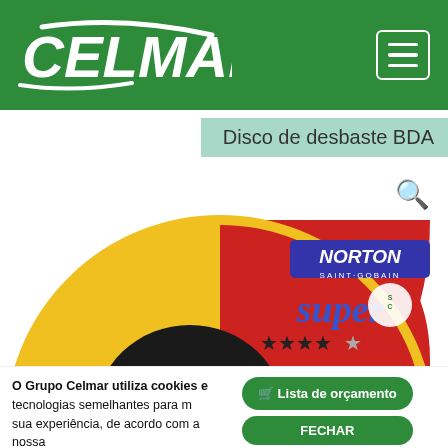[Figure (logo): Celmar company logo in white on green background, with hamburger menu icon in top right]
Disco de desbaste BDA
[Figure (photo): Norton Saint-Gobain Super abrasive grinding disc, yellow and red, with 4.5 star rating]
O Grupo Celmar utiliza cookies e tecnologias semelhantes para m sua experiência, de acordo com a nossa Política de Privacidade e ao...
Lista de orçamento
FECHAR